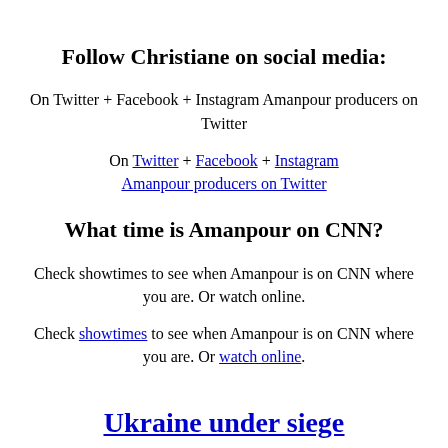Follow Christiane on social media:
On Twitter + Facebook + Instagram Amanpour producers on Twitter
On Twitter + Facebook + Instagram Amanpour producers on Twitter
What time is Amanpour on CNN?
Check showtimes to see when Amanpour is on CNN where you are. Or watch online.
Check showtimes to see when Amanpour is on CNN where you are. Or watch online.
Ukraine under siege